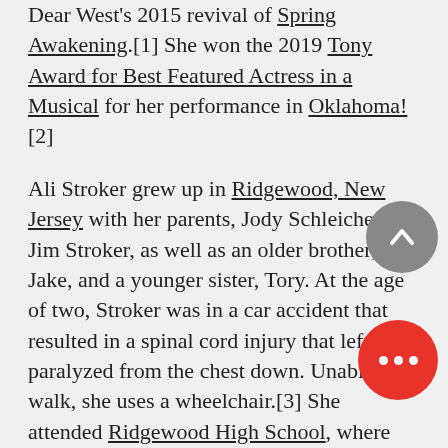Dear West's 2015 revival of Spring Awakening.[1] She won the 2019 Tony Award for Best Featured Actress in a Musical for her performance in Oklahoma![2]

Ali Stroker grew up in Ridgewood, New Jersey with her parents, Jody Schleicher and Jim Stroker, as well as an older brother, Jake, and a younger sister, Tory. At the age of two, Stroker was in a car accident that resulted in a spinal cord injury that left her paralyzed from the chest down. Unable to walk, she uses a wheelchair.[3] She attended Ridgewood High School, where she was senior class president and starred in school musicals.[4]Stroker trained with the Summer Musical Theater Conservatory program at the Paper Mill Playhouse in Millburn, New Jersey.[3]
In 2009, Stroker became the first actress who uses a wheelchair to earn a degree from the New York University Tisch Drama